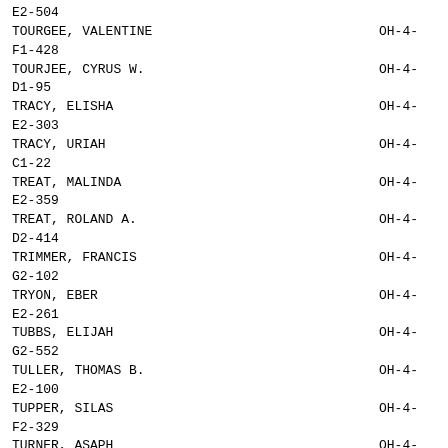TOURGEE, VALENTINE  OH-4-  F1-428
TOURJEE, CYRUS W.  OH-4-  D1-95
TRACY, ELISHA  OH-4-  E2-303
TRACY, URIAH  OH-4-  C1-22
TREAT, MALINDA  OH-4-  E2-359
TREAT, ROLAND A.  OH-4-  D2-414
TRIMMER, FRANCIS  OH-4-  G2-102
TRYON, EBER  OH-4-  E2-261
TUBBS, ELIJAH  OH-4-  G2-552
TULLER, THOMAS B.  OH-4-  E2-100
TUPPER, SILAS  OH-4-  F2-329
TURNER, ASAPH  OH-4-  D2-383
TURNER, CARMI  OH-4-  D1-370
TURNER, JEPTHA  OH-4-  G1-85
TURNER, JESSE  OH-4-